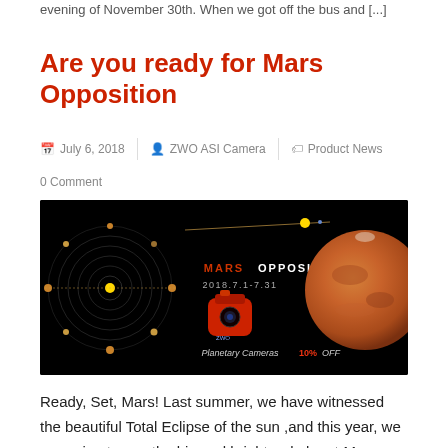evening of November 30th. When we got off the bus and [...]
Are you ready for Mars Opposition
July 6, 2018  |  ZWO ASI Camera  |  Product News
0 Comment
[Figure (photo): Mars Opposition 2018 promotional banner showing orbital diagram on left, center text 'MARS OPPOSITION 2018 / 2018.7.1-7.31' with a red ZWO camera and text 'Planetary Cameras 10% OFF', and a large photo of Mars on the right, all on black background.]
Ready, Set, Mars! Last summer, we have witnessed the beautiful Total Eclipse of the sun ,and this year, we are going to see the big and bright red planet-Mars, which is significantly bigger than